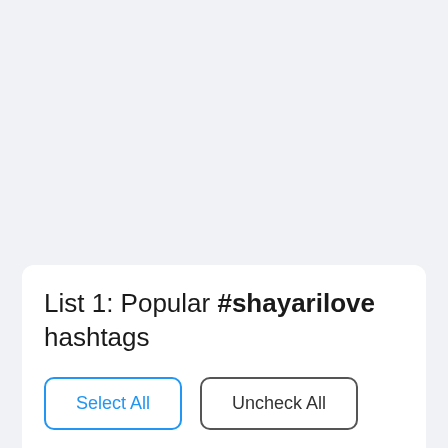List 1: Popular #shayarilove hashtags